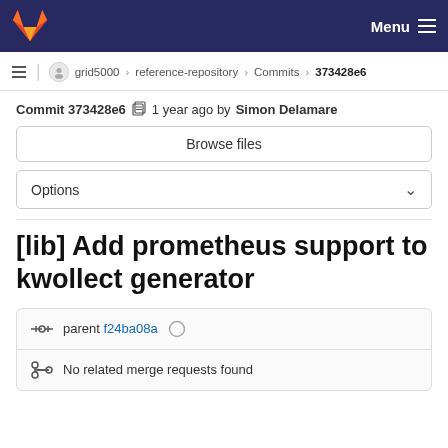GitLab — Menu
≡ | grid5000 › reference-repository › Commits › 373428e6
Commit 373428e6 🗒 1 year ago by Simon Delamare
Browse files
Options
[lib] Add prometheus support to kwollect generator
parent f24ba08a ○
No related merge requests found